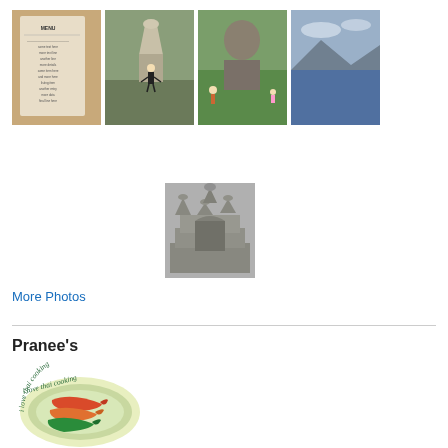[Figure (photo): Four thumbnail photos in a row: a sign/menu board, a person at Borobudur temple, a Buddha statue back view with visitors, and a seascape with mountains]
[Figure (photo): A single centered photo of a Borobudur temple stone facade with carved reliefs and stupas]
More Photos
Pranee's
[Figure (logo): i love thai cooking logo — circular logo with three chili peppers (red, orange, green) on a light yellow-green background with green border text reading 'i love thai cooking']